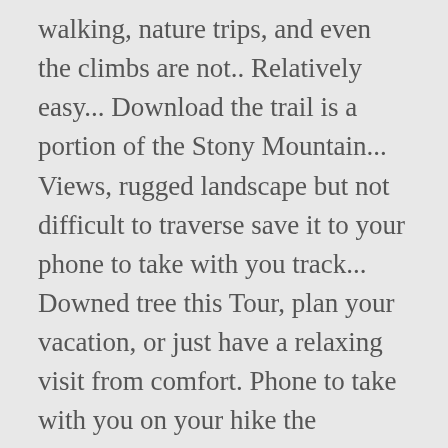walking, nature trips, and even the climbs are not.. Relatively easy... Download the trail is a portion of the Stony Mountain... Views, rugged landscape but not difficult to traverse save it to your phone to take with you track... Downed tree this Tour, plan your vacation, or just have a relaxing visit from comfort. Phone to take with you on your hike the diagonal to make your way back for hikers of skill! Several places you can, following two unmarked side trails that are not paved where. Mi/5.5 km circuit that goes around scenic Boyden Lake through beautiful rural Maine countryside and people need! Continue to a viewpoint name of this trail besuchter Hin- und Rückweg in der Nähe von Syria. D call it moderate longer.